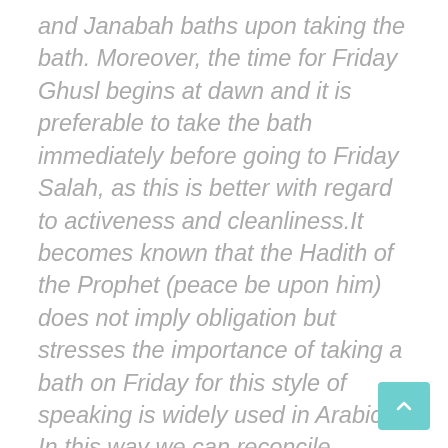and Janabah baths upon taking the bath. Moreover, the time for Friday Ghusl begins at dawn and it is preferable to take the bath immediately before going to Friday Salah, as this is better with regard to activeness and cleanliness.It becomes known that the Hadith of the Prophet (peace be upon him) does not imply obligation but stresses the importance of taking a bath on Friday for this style of speaking is widely used in Arabic. In this way we can reconcile between the Hadiths narrated concerning